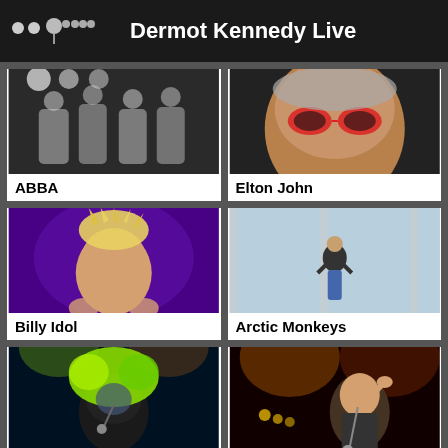Dermot Kennedy Live
[Figure (photo): Concert photo ABBA]
ABBA
[Figure (photo): Concert photo Elton John]
Elton John
[Figure (photo): Concert photo Billy Idol]
Billy Idol
[Figure (photo): Concert photo Arctic Monkeys]
Arctic Monkeys
[Figure (photo): Concert photo The Cure]
The Cure
[Figure (photo): Concert photo Scouting for Girls]
Scouting for Girls
Can't find the event you're looking for? Tell us about it!